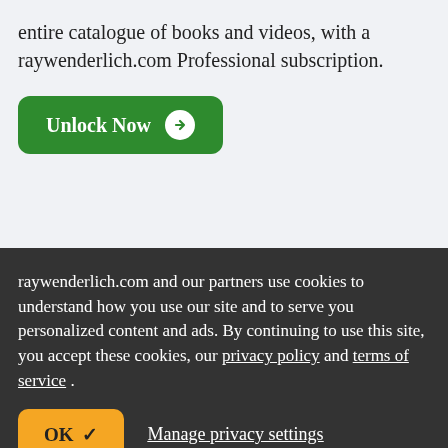entire catalogue of books and videos, with a raywenderlich.com Professional subscription.
[Figure (other): Green 'Unlock Now' button with white arrow circle icon]
You're reading for free, with parts of this chapter shown as nvhomrmun text. Unlock this book, and our entire
raywenderlich.com and our partners use cookies to understand how you use our site and to serve you personalized content and ads. By continuing to use this site, you accept these cookies, our privacy policy and terms of service.
[Figure (other): Yellow 'OK ✓' button and 'Manage privacy settings' link]